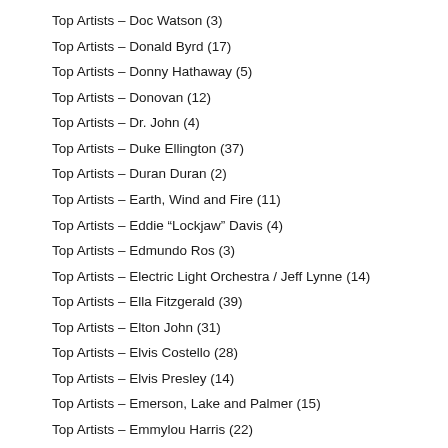Top Artists – Doc Watson (3)
Top Artists – Donald Byrd (17)
Top Artists – Donny Hathaway (5)
Top Artists – Donovan (12)
Top Artists – Dr. John (4)
Top Artists – Duke Ellington (37)
Top Artists – Duran Duran (2)
Top Artists – Earth, Wind and Fire (11)
Top Artists – Eddie “Lockjaw” Davis (4)
Top Artists – Edmundo Ros (3)
Top Artists – Electric Light Orchestra / Jeff Lynne (14)
Top Artists – Ella Fitzgerald (39)
Top Artists – Elton John (31)
Top Artists – Elvis Costello (28)
Top Artists – Elvis Presley (14)
Top Artists – Emerson, Lake and Palmer (15)
Top Artists – Emmylou Harris (22)
Top Artists – Eric Clapton, Cream, Blind Faith, etc. (37)
Top Artists – Eric Dolphy (10)
Top Artists – Esquivel (4)